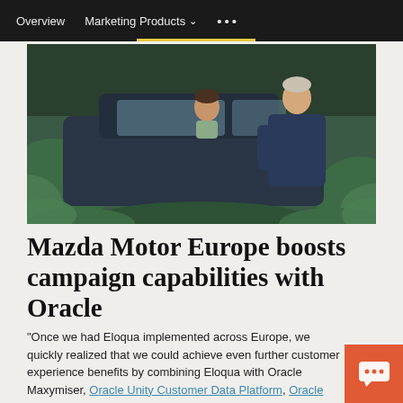Overview   Marketing Products ▾   • • •
[Figure (photo): A woman and a man standing next to a dark SUV in a forest setting. A child leans out of the car window.]
Mazda Motor Europe boosts campaign capabilities with Oracle
"Once we had Eloqua implemented across Europe, we quickly realized that we could achieve even further customer experience benefits by combining Eloqua with Oracle Maxymiser, Oracle Unity Customer Data Platform, Oracle Infinity Behavioral Intelligence, and Oracle Data Management Platform."